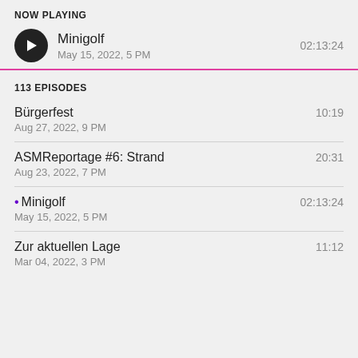NOW PLAYING
Minigolf | May 15, 2022, 5 PM | 02:13:24
113 EPISODES
Bürgerfest | Aug 27, 2022, 9 PM | 10:19
ASMReportage #6: Strand | Aug 23, 2022, 7 PM | 20:31
• Minigolf | May 15, 2022, 5 PM | 02:13:24
Zur aktuellen Lage | Mar 04, 2022, 3 PM | 11:12